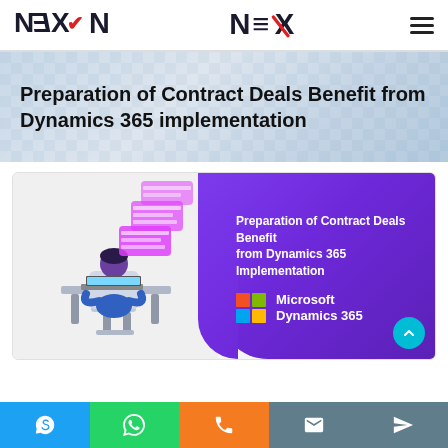NEX (logo) with hamburger menu
Preparation of Contract Deals Benefit from Dynamics 365 implementation
[Figure (illustration): Featured article card with isometric illustration of a person working at a laptop with floating UI panels on the left, and a purple gradient panel on the right showing 'Preparation of Contract Deals Benefit from Dynamics 365 Implementation' with Microsoft Dynamics 365 logo]
Bottom navigation bar with Skype, WhatsApp, Phone, Email, and Send icons